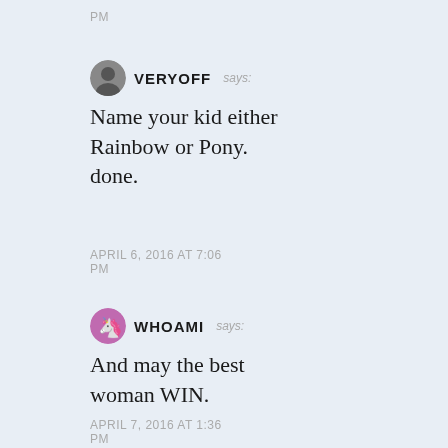PM
VERYOFF says:
Name your kid either Rainbow or Pony. done.
APRIL 6, 2016 AT 7:06 PM
WHOAMI says:
And may the best woman WIN.
APRIL 7, 2016 AT 1:36 PM